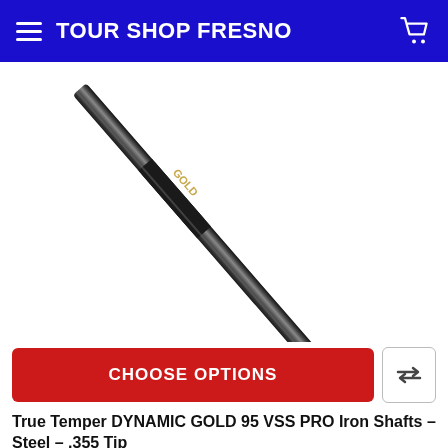TOUR SHOP FRESNO
[Figure (photo): Close-up diagonal photo of a True Temper Dynamic Gold 95 VSS PRO iron shaft — black shaft with gold and white branding text, angled from bottom-left to upper-right against a white background]
CHOOSE OPTIONS
True Temper DYNAMIC GOLD 95 VSS PRO Iron Shafts – Steel – .355 Tip
True Temper
MSRP: $60.00
Price: $35.99